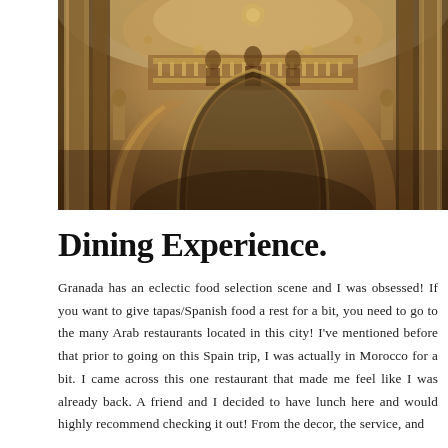[Figure (photo): Interior of an ornate Baroque-style building, likely a cathedral or grand hall in Granada, Spain. Looking upward at richly decorated columns, arches, balconies with gilded ornaments, and statues. Warm golden-brown tones throughout.]
Dining Experience.
Granada has an eclectic food selection scene and I was obsessed! If you want to give tapas/Spanish food a rest for a bit, you need to go to the many Arab restaurants located in this city! I've mentioned before that prior to going on this Spain trip, I was actually in Morocco for a bit. I came across this one restaurant that made me feel like I was already back. A friend and I decided to have lunch here and would highly recommend checking it out! From the decor, the service, and